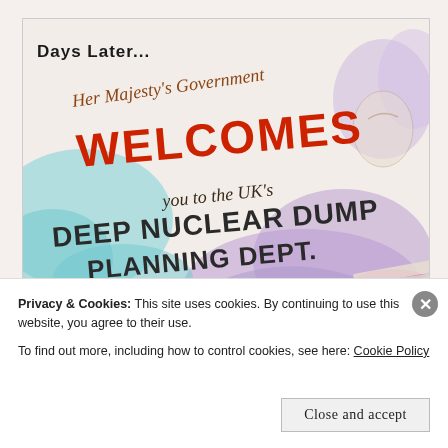[Figure (illustration): Hand-drawn illustration with colorful crayon/colored pencil artwork on a light background. Text reads: 'Days Later...' at top left, then in script 'Her Majesty's Government WELCOMES you to the UK's DEEP NUCLEAR DUMP PLANNING DEPT.' with 'CoRWM' visible at bottom right. Colorful swirls of blue, purple, pink, and teal decorate the background. The word WELCOMES is in large red/orange bold lettering.]
Privacy & Cookies: This site uses cookies. By continuing to use this website, you agree to their use.
To find out more, including how to control cookies, see here: Cookie Policy